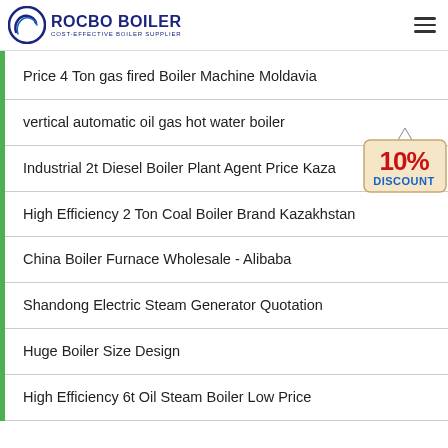[Figure (logo): Rocbo Boiler logo with circular icon and text 'ROCBO BOILER / COST-EFFECTIVE BOILER SUPPLIER' in dark blue]
Price 4 Ton gas fired Boiler Machine Moldavia
vertical automatic oil gas hot water boiler
Industrial 2t Diesel Boiler Plant Agent Price Kaza
High Efficiency 2 Ton Coal Boiler Brand Kazakhstan
China Boiler Furnace Wholesale - Alibaba
Shandong Electric Steam Generator Quotation
Huge Boiler Size Design
High Efficiency 6t Oil Steam Boiler Low Price
[Figure (illustration): 10% DISCOUNT badge/sign in red and blue text on beige tag background]